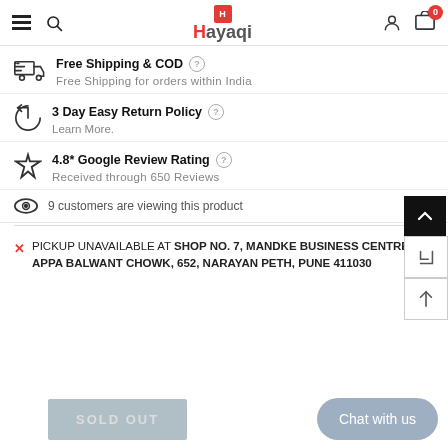Hayaqi — navigation header with hamburger, search, logo, account, and cart (0)
Free Shipping & COD — Free Shipping for orders within India
3 Day Easy Return Policy — Learn More.
4.8* Google Review Rating — Received through 650 Reviews
9 customers are viewing this product
PICKUP UNAVAILABLE AT SHOP NO. 7, MANDKE BUSINESS CENTRE, APPA BALWANT CHOWK, 652, NARAYAN PETH, PUNE 411030
Chat with us
SOLD OUT